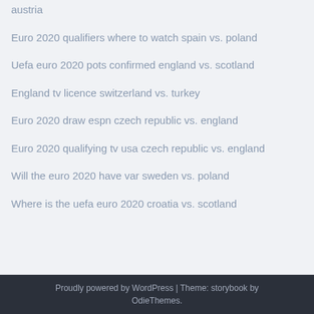austria
Euro 2020 qualifiers where to watch spain vs. poland
Uefa euro 2020 pots confirmed england vs. scotland
England tv licence switzerland vs. turkey
Euro 2020 draw espn czech republic vs. england
Euro 2020 qualifying tv usa czech republic vs. england
Will the euro 2020 have var sweden vs. poland
Where is the uefa euro 2020 croatia vs. scotland
Proudly powered by WordPress | Theme: storybook by OdieThemes.